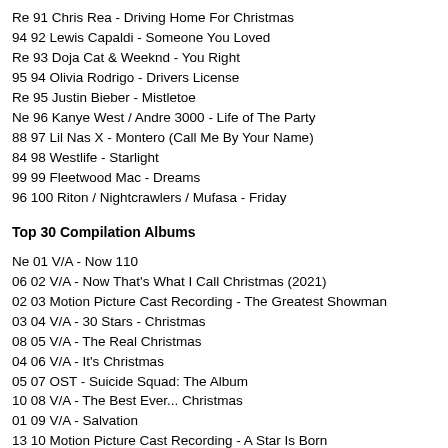Re 91 Chris Rea - Driving Home For Christmas
94 92 Lewis Capaldi - Someone You Loved
Re 93 Doja Cat & Weeknd - You Right
95 94 Olivia Rodrigo - Drivers License
Re 95 Justin Bieber - Mistletoe
Ne 96 Kanye West / Andre 3000 - Life of The Party
88 97 Lil Nas X - Montero (Call Me By Your Name)
84 98 Westlife - Starlight
99 99 Fleetwood Mac - Dreams
96 100 Riton / Nightcrawlers / Mufasa - Friday
Top 30 Compilation Albums
Ne 01 V/A - Now 110
06 02 V/A - Now That's What I Call Christmas (2021)
02 03 Motion Picture Cast Recording - The Greatest Showman
03 04 V/A - 30 Stars - Christmas
08 05 V/A - The Real Christmas
04 06 V/A - It's Christmas
05 07 OST - Suicide Squad: The Album
10 08 V/A - The Best Ever... Christmas
01 09 V/A - Salvation
13 10 Motion Picture Cast Recording - A Star Is Born
07 11 OST - Mama Mia
21 12 V/A - Now 100 Hits - Christmas [2020]
12 13 V/A - Phil Collins Plays Well With Others
9 14 Original TV Soundtrack - Hamilton
14 15 OST - Moana